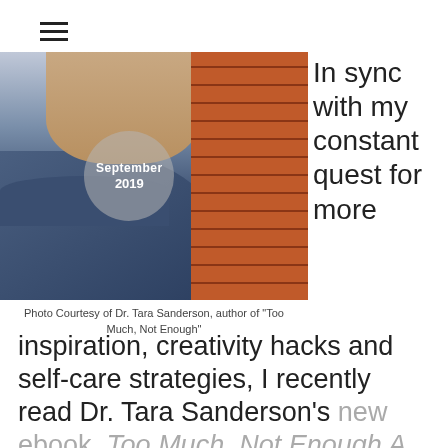[Figure (photo): Photo of Dr. Tara Sanderson wearing a dark blue top against a brick wall background, with a 'September 2019' circular overlay badge]
Photo Courtesy of Dr. Tara Sanderson, author of "Too Much, Not Enough"
In sync with my constant quest for more inspiration, creativity hacks and self-care strategies, I recently read Dr. Tara Sanderson's new ebook, Too Much, Not Enough A guide to decreasing anxiety and finding balance through intentional choices. The book title captured my attention as something